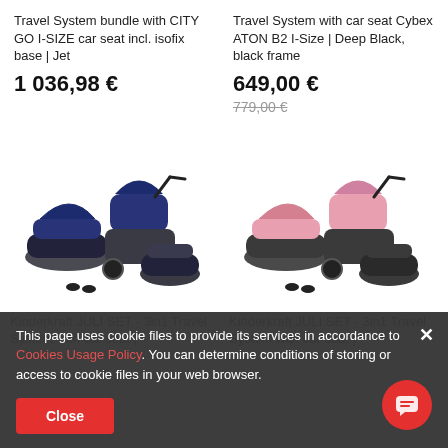Travel System bundle with CITY GO I-SIZE car seat incl. isofix base | Jet
Travel System with car seat Cybex ATON B2 I-Size | Deep Black, black frame
1 036,98 €
649,00 €
779,00 €
[Figure (photo): Kinderkraft JULI SET 3in1 travel system with dark blue/grey baby carriage, stroller, and car seat]
[Figure (photo): Kinderkraft JULI SET 3in1 travel system with pink/grey baby carriage, stroller, and car seat]
Kinderkraft JULI SET - 3in1 Travel System with car seat |
Kinderkraft JULI SET - 3in1 Travel System with car seat |
This page uses cookie files to provide its services in accordance to Cookies Usage Policy. You can determine conditions of storing or access to cookie files in your web browser.
Close